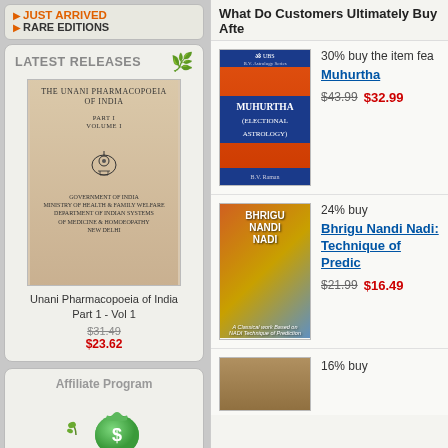▶ JUST ARRIVED
▶ RARE EDITIONS
LATEST RELEASES
[Figure (photo): Cover of Unani Pharmacopoeia of India Part 1 Vol 1 book with beige/tan cover]
Unani Pharmacopoeia of India Part 1 - Vol 1
$31.49
$23.62
Affiliate Program
Join Now
Affiliate Log In
Affiliate Information
What Do Customers Ultimately Buy Afte
[Figure (photo): Cover of Muhurtha (Electional Astrology) book - orange/red cover with blue panel showing title]
30% buy the item fea
Muhurtha
$43.99 $32.99
[Figure (photo): Cover of Bhrigu Nandi Nadi book - colorful cover with meditating figure]
24% buy
Bhrigu Nandi Nadi: Technique of Predic
$21.99 $16.49
16% buy